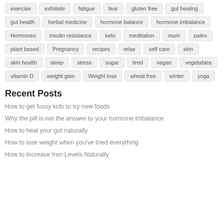exercise
exfoliate
fatigue
fear
gluten free
gut healing
gut health
herbal medicine
hormone balance
hormone imbalance
Hormones
insulin resistance
keto
meditation
mum
paleo
plant based
Pregnancy
recipes
relax
self care
skin
skin health
sleep
stress
sugar
tired
vegan
vegetables
vitamin D
weight gain
Weight loss
wheat free
winter
yoga
Recent Posts
How to get fussy kids to try new foods
Why the pill is not the answer to your hormone imbalance
How to heal your gut naturally
How to lose weight when you’ve tried everything
How to Increase Iron Levels Naturally